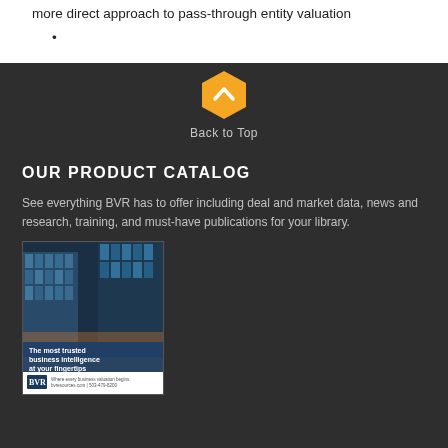more direct approach to pass-through entity valuation
[Figure (other): Back to Top button — orange hexagon with upward chevron icon and 'Back to Top' label below]
OUR PRODUCT CATALOG
See everything BVR has to offer including deal and market data, news and research, training, and must-have publications for your library.
[Figure (photo): BVR product catalog cover showing a glass skyscraper building with overlay text 'The most trusted business intelligence at your fingertips' and BVR logo at the bottom]